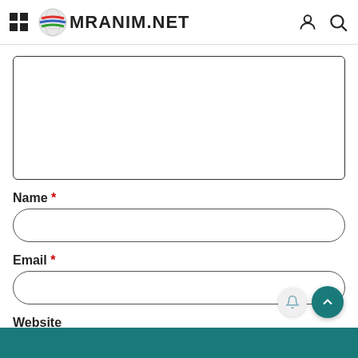MRANIM.NET
[Figure (screenshot): Large text input/comment textarea with border]
Name *
[Figure (other): Name input field with rounded border]
Email *
[Figure (other): Email input field with rounded border]
Website
[Figure (other): Website input field with rounded border]